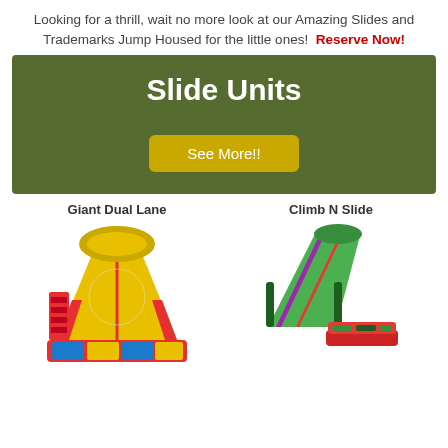Looking for a thrill, wait no more look at our Amazing Slides and Trademarks Jump Housed for the little ones!  Reserve Now!
Slide Units
See More!!
Giant Dual Lane
[Figure (photo): Colorful inflatable giant dual lane slide with red, yellow, and blue colors]
Climb N Slide
[Figure (photo): Colorful inflatable climb n slide with green, purple, and red stripes]